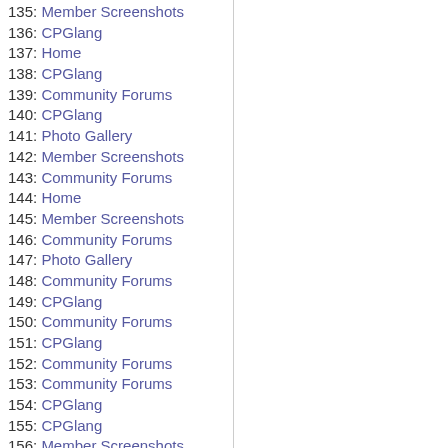135: Member Screenshots
136: CPGlang
137: Home
138: CPGlang
139: Community Forums
140: CPGlang
141: Photo Gallery
142: Member Screenshots
143: Community Forums
144: Home
145: Member Screenshots
146: Community Forums
147: Photo Gallery
148: Community Forums
149: CPGlang
150: Community Forums
151: CPGlang
152: Community Forums
153: Community Forums
154: CPGlang
155: CPGlang
156: Member Screenshots
157: CPGlang
158: Member Screenshots
159: Home